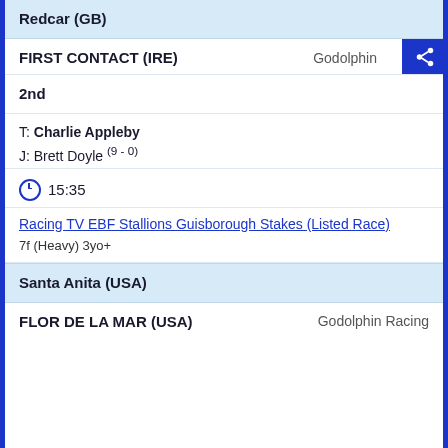Redcar (GB)
FIRST CONTACT (IRE)    Godolphin
2nd
T: Charlie Appleby
J: Brett Doyle (9 - 0)
15:35
Racing TV EBF Stallions Guisborough Stakes (Listed Race)
7f (Heavy) 3yo+
Santa Anita (USA)
FLOR DE LA MAR (USA)    Godolphin Racing